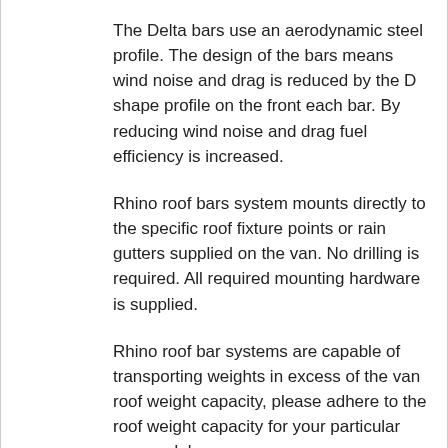The Delta bars use an aerodynamic steel profile. The design of the bars means wind noise and drag is reduced by the D shape profile on the front each bar. By reducing wind noise and drag fuel efficiency is increased.
Rhino roof bars system mounts directly to the specific roof fixture points or rain gutters supplied on the van. No drilling is required. All required mounting hardware is supplied.
Rhino roof bar systems are capable of transporting weights in excess of the van roof weight capacity, please adhere to the roof weight capacity for your particular van model.
Next working day delivery for online orders placed before 4pm.